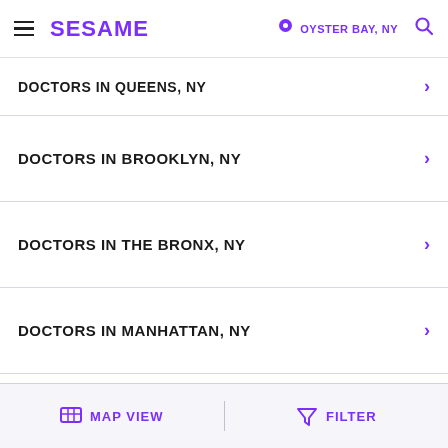SESAME | OYSTER BAY, NY
DOCTORS IN QUEENS, NY
DOCTORS IN BROOKLYN, NY
DOCTORS IN THE BRONX, NY
DOCTORS IN MANHATTAN, NY
DOCTORS IN BRIDGEPORT, CT
MAP VIEW | FILTER